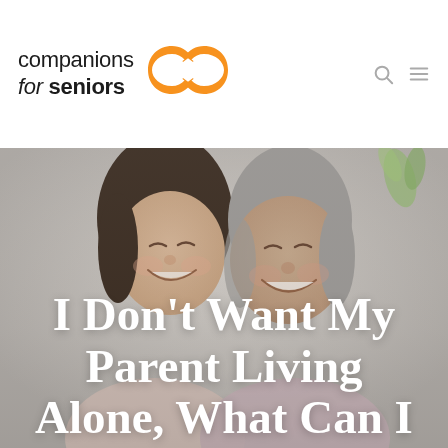[Figure (logo): Companions for Seniors logo: text 'companions for seniors' in dark gray with italic 'for', accompanied by an orange interlocking chain/infinity loop icon on the right side of the text]
[Figure (photo): A young Asian woman and an older Asian woman (likely mother and daughter) smiling and laughing together, cheek to cheek. Background is light/white, slightly blurred. A green plant is visible in the top right. The image has a subtle gray overlay.]
I Don't Want My Parent Living Alone, What Can I